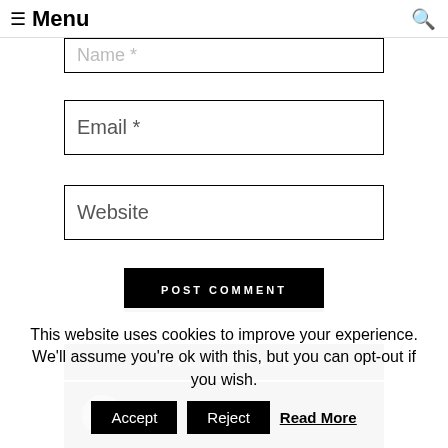≡ Menu
Name *
Email *
Website
POST COMMENT
FEATURED VIDEO
[Figure (other): Video thumbnail area showing a dark background with a circular play button element]
This website uses cookies to improve your experience. We'll assume you're ok with this, but you can opt-out if you wish.
Accept
Reject
Read More